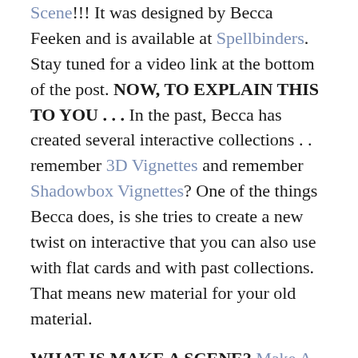Scene!!!  It was designed by Becca Feeken and is available at Spellbinders.  Stay tuned for a video link at the bottom of the post. NOW, TO EXPLAIN THIS TO YOU . . . In the past, Becca has created several interactive collections . . remember 3D Vignettes and remember Shadowbox Vignettes?  One of the things Becca does, is she tries to create a new twist on interactive that you can also use with flat cards and with past collections. That means new material for your old material.
WHAT IS MAKE A SCENE? Make A Scene is an interactive card collection and a flat card collection, all in one – you choose based on your style.  The interactive portion is made with a card base that folds in to different shapes when opening.  The 3D...